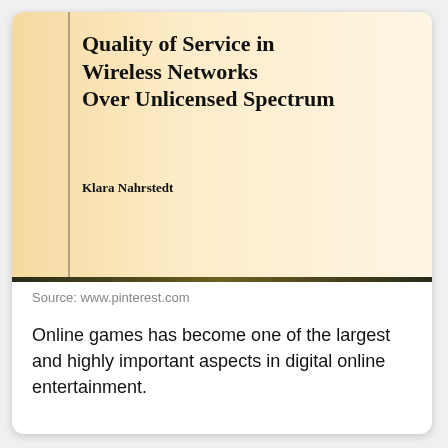[Figure (photo): Book cover thumbnail for 'Quality of Service in Wireless Networks Over Unlicensed Spectrum' by Klara Nahrstedt. Cream/gold gradient background with bold serif title text and author name.]
Source: www.pinterest.com
Online games has become one of the largest and highly important aspects in digital online entertainment.